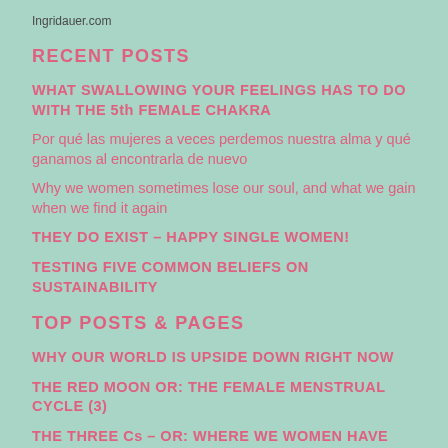Ingridauer.com
RECENT POSTS
WHAT SWALLOWING YOUR FEELINGS HAS TO DO WITH THE 5th FEMALE CHAKRA
Por qué las mujeres a veces perdemos nuestra alma y qué ganamos al encontrarla de nuevo
Why we women sometimes lose our soul, and what we gain when we find it again
THEY DO EXIST – HAPPY SINGLE WOMEN!
TESTING FIVE COMMON BELIEFS ON SUSTAINABILITY
TOP POSTS & PAGES
WHY OUR WORLD IS UPSIDE DOWN RIGHT NOW
THE RED MOON OR: THE FEMALE MENSTRUAL CYCLE (3)
THE THREE Cs – OR: WHERE WE WOMEN HAVE LOST OUR